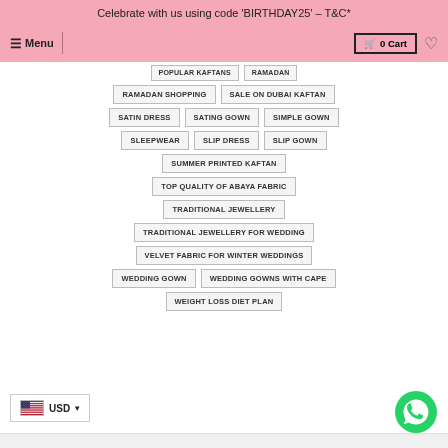Celebrate with us using code 'BIRTHDAY25' - T&C*
Menu | 0 Cart
RAMADAN SHOPPING
SALE ON DUBAI KAFTAN
SATIN DRESS
SATING GOWN
SIMPLE GOWN
SLEEPWEAR
SLIP DRESS
SLIP GOWN
SUMMER PRINTED KAFTAN
TOP QUALITY OF ABAYA FABRIC
TRADITIONAL JEWELLERY
TRADITIONAL JEWELLERY FOR WEDDING
VELVET FABRIC FOR WINTER WEDDINGS
WEDDING GOWN
WEDDING GOWNS WITH CAPE
WEIGHT LOSS DIET PLAN
USD
[Figure (logo): WhatsApp chat button icon (green circle with white phone handset)]